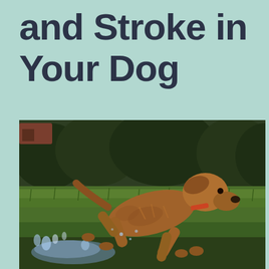and Stroke in Your Dog
[Figure (photo): A golden/brown Chesapeake Bay Retriever or similar dog leaping through water over a grassy field, captured mid-jump with water splashing beneath its paws. The background shows green grass and dark trees.]